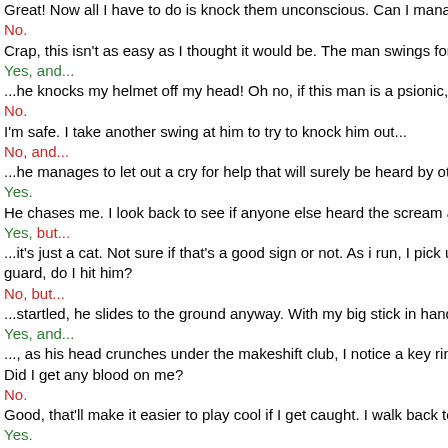Great! Now all I have to do is knock them unconscious. Can I manag...
No.
Crap, this isn't as easy as I thought it would be. The man swings for m...
Yes, and...
...he knocks my helmet off my head! Oh no, if this man is a psionic, th...
No.
I'm safe. I take another swing at him to try to knock him out...
No, and...
...he manages to let out a cry for help that will surely be heard by othe...
Yes.
He chases me. I look back to see if anyone else heard the scream an...
Yes, but...
...it's just a cat. Not sure if that's a good sign or not. As i run, I pick up... guard, do I hit him?
No, but...
...startled, he slides to the ground anyway. With my big stick in hand,...
Yes, and...
..., as his head crunches under the makeshift club, I notice a key ring... Did I get any blood on me?
No.
Good, that'll make it easier to play cool if I get caught. I walk back to ...
Yes.
No one has come out, so it's probably fine. The cat watches me as...